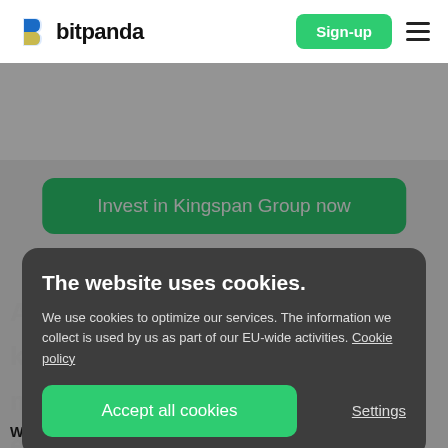[Figure (logo): Bitpanda logo: stylized B icon in blue and yellow, with 'bitpanda' wordmark in black bold text]
Sign-up
Invest in Kingspan Group now
The website uses cookies.
We use cookies to optimize our services. The information we collect is used by us as part of our EU-wide activities. Cookie policy
Accept all cookies
Settings
Water and Energy, Data and Flooring and